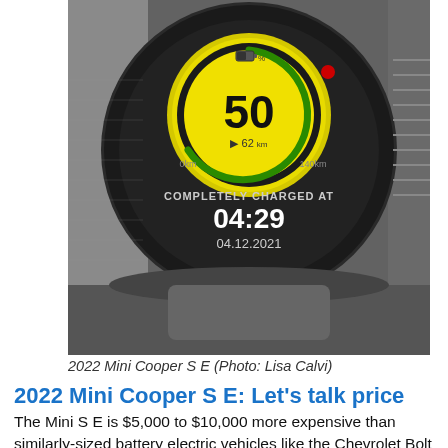[Figure (photo): Dashboard display of a 2022 Mini Cooper S E showing battery charge at 50%, range of 62km, with text 'COMPLETELY CHARGED AT 04:29' and date '04.12.2021' on a yellow circular gauge against a dark background.]
2022 Mini Cooper S E (Photo: Lisa Calvi)
2022 Mini Cooper S E: Let’s talk price
The Mini S E is $5,000 to $10,000 more expensive than similarly-sized battery electric vehicles like the Chevrolet Bolt EV and Nissan Leaf. It also has only half the range. It compares favourably price-wise with the